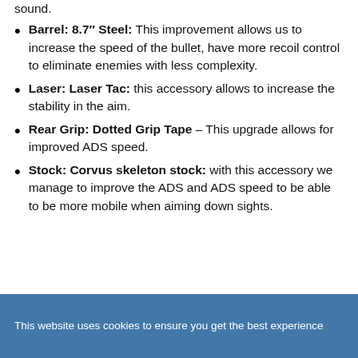sound.
Barrel: 8.7″ Steel: This improvement allows us to increase the speed of the bullet, have more recoil control to eliminate enemies with less complexity.
Laser: Laser Tac: this accessory allows to increase the stability in the aim.
Rear Grip: Dotted Grip Tape – This upgrade allows for improved ADS speed.
Stock: Corvus skeleton stock: with this accessory we manage to improve the ADS and ADS speed to be able to be more mobile when aiming down sights.
This website uses cookies to ensure you get the best experience